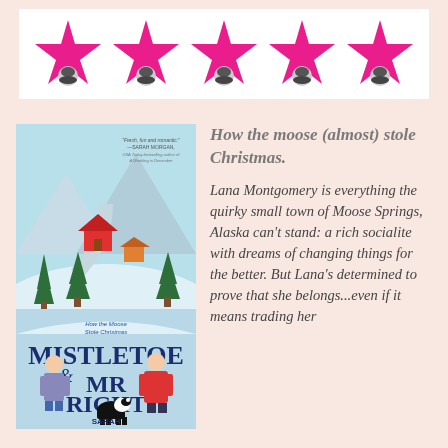[Figure (illustration): Five pink/hot-pink stars arranged horizontally on a white rectangular background, each star has a small circular image of a person at its center base]
[Figure (illustration): Book cover of 'Mistletoe & Mr Right' by Sarah Morgenthaler. Features a winter scene with two characters (a man in plaid and a woman in red coat) and a dog, with snowy mountain village background. Subtitle text 'How the Moose Stole Christmas' at top.]
How the moose (almost) stole Christmas.
Lana Montgomery is everything the quirky small town of Moose Springs, Alaska can't stand: a rich socialite with dreams of changing things for the better. But Lana's determined to prove that she belongs...even if it means trading her